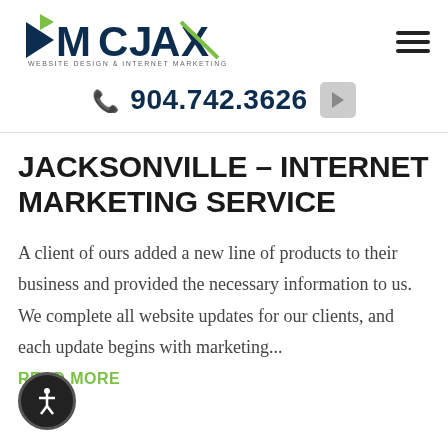[Figure (logo): DMCJAX Website Design & Internet Marketing logo with tagline]
904.742.3626
JACKSONVILLE – INTERNET MARKETING SERVICE
A client of ours added a new line of products to their business and provided the necessary information to us. We complete all website updates for our clients, and each update begins with marketing...
READ MORE